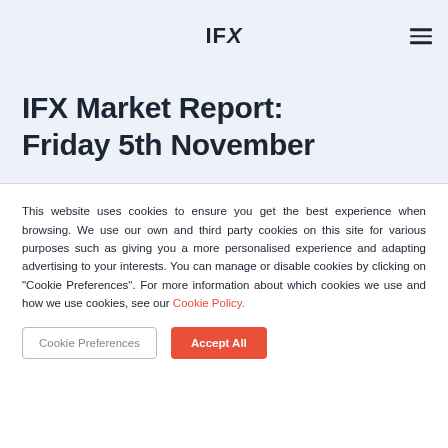IFX
IFX Market Report: Friday 5th November
This website uses cookies to ensure you get the best experience when browsing. We use our own and third party cookies on this site for various purposes such as giving you a more personalised experience and adapting advertising to your interests. You can manage or disable cookies by clicking on "Cookie Preferences". For more information about which cookies we use and how we use cookies, see our Cookie Policy.
Cookie Preferences | Accept All